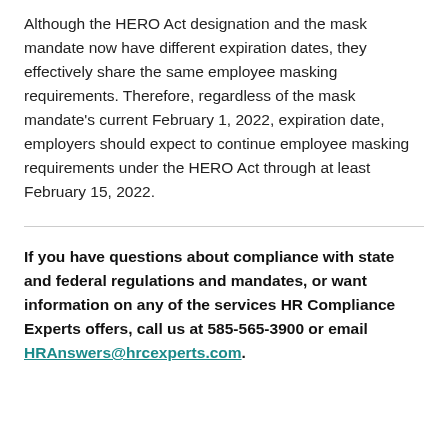Although the HERO Act designation and the mask mandate now have different expiration dates, they effectively share the same employee masking requirements. Therefore, regardless of the mask mandate's current February 1, 2022, expiration date, employers should expect to continue employee masking requirements under the HERO Act through at least February 15, 2022.
If you have questions about compliance with state and federal regulations and mandates, or want information on any of the services HR Compliance Experts offers, call us at 585-565-3900 or email HRAnswers@hrcexperts.com.